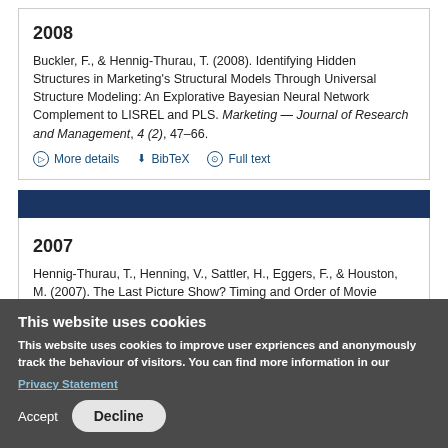2008

Buckler, F., & Hennig-Thurau, T. (2008). Identifying Hidden Structures in Marketing's Structural Models Through Universal Structure Modeling: An Explorative Bayesian Neural Network Complement to LISREL and PLS. Marketing — Journal of Research and Management, 4 (2), 47–66.
▷ More details  ⬇ BibTeX  ⊙ Full text
2007

Hennig-Thurau, T., Henning, V., Sattler, H., Eggers, F., & Houston, M. (2007). The Last Picture Show? Timing and Order of Movie
This website uses cookies

This website uses cookies to improve user expriences and anonymously track the behaviour of visitors. You can find more information in our
Privacy Statement

Accept   Decline